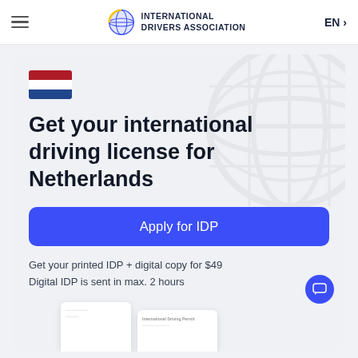INTERNATIONAL DRIVERS ASSOCIATION | EN
[Figure (illustration): Netherlands flag (red, white, blue horizontal stripes)]
Get your international driving license for Netherlands
Apply for IDP
Get your printed IDP + digital copy for $49
Digital IDP is sent in max. 2 hours
[Figure (photo): Partial view of IDP documents at the bottom of the card]